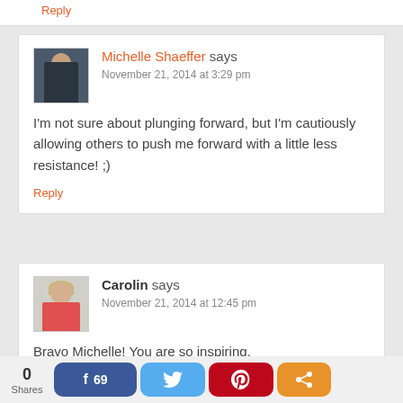Reply
Michelle Shaeffer says
November 21, 2014 at 3:29 pm
I'm not sure about plunging forward, but I'm cautiously allowing others to push me forward with a little less resistance! ;)
Reply
Carolin says
November 21, 2014 at 12:45 pm
Bravo Michelle! You are so inspiring.
{(}}
0 Shares  69